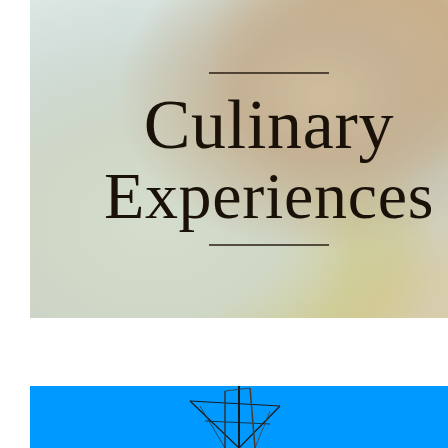[Figure (photo): A food/culinary photograph showing what appears to be a gourmet dish with garnishes, overlaid with large decorative serif text reading 'Culinary Experiences' with horizontal rules above and below the text. The photo has muted, cool-toned colors with warm food tones on the right.]
[Figure (photo): A bright blue background image showing what appears to be acupuncture needles or a sailing boat mast silhouette, partially visible at the bottom of the page.]